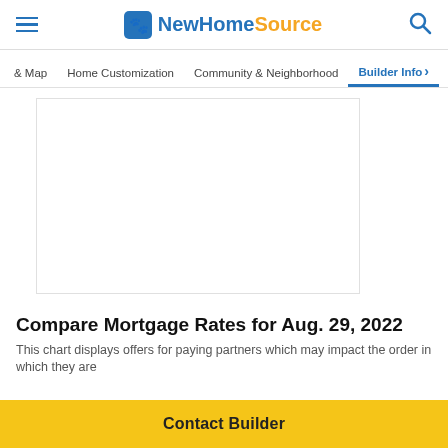NewHomeSource
& Map   Home Customization   Community & Neighborhood   Builder Info
[Figure (other): White rectangular content area / image placeholder]
Compare Mortgage Rates for Aug. 29, 2022
This chart displays offers for paying partners which may impact the order in which they are displayed.
Contact Builder